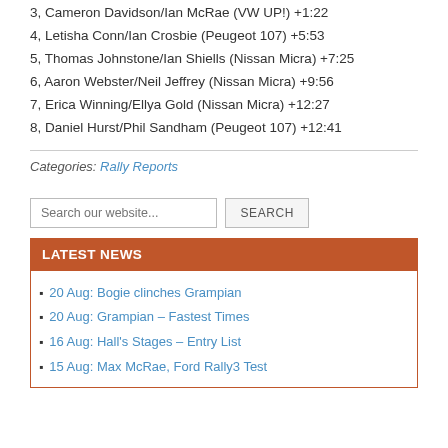3, Cameron Davidson/Ian McRae (VW UP!) +1:22
4, Letisha Conn/Ian Crosbie (Peugeot 107) +5:53
5, Thomas Johnstone/Ian Shiells (Nissan Micra) +7:25
6, Aaron Webster/Neil Jeffrey (Nissan Micra) +9:56
7, Erica Winning/Ellya Gold (Nissan Micra) +12:27
8, Daniel Hurst/Phil Sandham (Peugeot 107) +12:41
Categories: Rally Reports
20 Aug: Bogie clinches Grampian
20 Aug: Grampian – Fastest Times
16 Aug: Hall's Stages – Entry List
15 Aug: Max McRae, Ford Rally3 Test